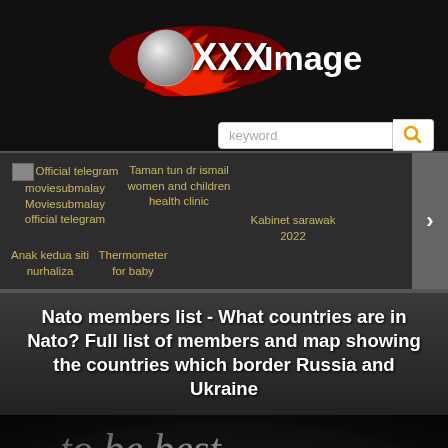[Figure (logo): XXX Image website logo with red flame and silver ball]
[Figure (screenshot): Search bar with keyword placeholder and magnifying glass icon]
[Figure (screenshot): Navigation thumbnail bar with links: Official telegram moviesubmalay Moviesubmalay official telegram, Taman tun dr ismail women and children health clinic, Kabinet sarawak 2022, Anak kedua siti nurhaliza, Thermometer for baby, with right arrow navigation]
Nato members list - What countries are in Nato? Full list of members and map showing the countries which border Russia and Ukraine
[Figure (photo): Close-up photo of text printed on paper reading 'to be best' and 'point of view' in dark lighting]